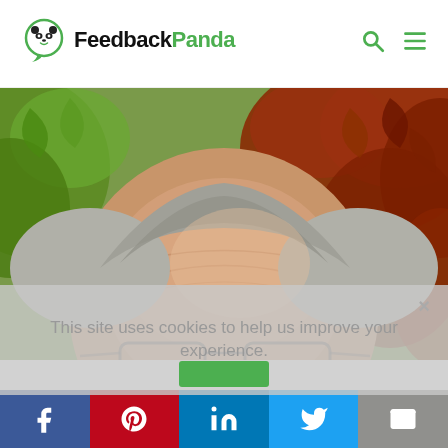[Figure (logo): FeedbackPanda logo with panda icon and text 'FeedbackPanda' where 'Panda' is in green]
[Figure (photo): Close-up photo of a man's forehead and glasses with Japanese maple trees in the background (red and green leaves)]
This site uses cookies to help us improve your experience.
[Figure (infographic): Social sharing bar with Facebook, Pinterest, LinkedIn, Twitter, and Email buttons]